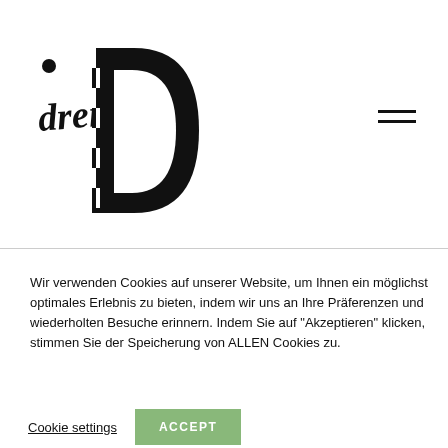[Figure (logo): dreiD logo: stylized black letter D with cursive 'drei' script overlapping it]
Wir verwenden Cookies auf unserer Website, um Ihnen ein möglichst optimales Erlebnis zu bieten, indem wir uns an Ihre Präferenzen und wiederholten Besuche erinnern. Indem Sie auf "Akzeptieren" klicken, stimmen Sie der Speicherung von ALLEN Cookies zu.
Cookie settings
ACCEPT